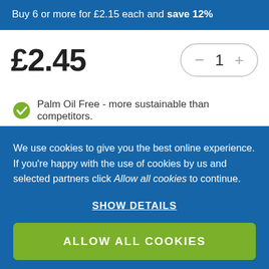Buy 6 or more for £2.15 each and save 12%
£2.45
1
Palm Oil Free - more sustainable than competitors.
We use cookies to give you the best online experience. If you're happy with the use of cookies by us and selected partners click Allow all cookies to continue.
SHOW DETAILS
ALLOW ALL COOKIES